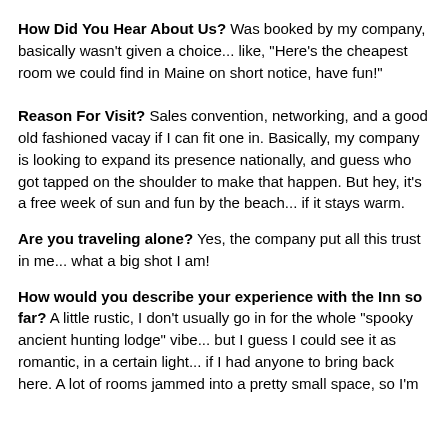How Did You Hear About Us? Was booked by my company, basically wasn't given a choice... like, "Here's the cheapest room we could find in Maine on short notice, have fun!"
Reason For Visit? Sales convention, networking, and a good old fashioned vacay if I can fit one in. Basically, my company is looking to expand its presence nationally, and guess who got tapped on the shoulder to make that happen. But hey, it's a free week of sun and fun by the beach... if it stays warm.
Are you traveling alone? Yes, the company put all this trust in me... what a big shot I am!
How would you describe your experience with the Inn so far? A little rustic, I don't usually go in for the whole "spooky ancient hunting lodge" vibe... but I guess I could see it as romantic, in a certain light... if I had anyone to bring back here. A lot of rooms jammed into a pretty small space, so I'm